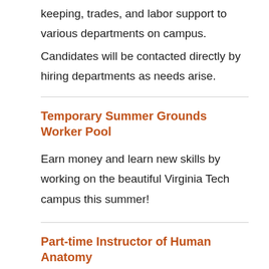keeping, trades, and labor support to various departments on campus.
Candidates will be contacted directly by hiring departments as needs arise.
Temporary Summer Grounds Worker Pool
Earn money and learn new skills by working on the beautiful Virginia Tech campus this summer!
Part-time Instructor of Human Anatomy